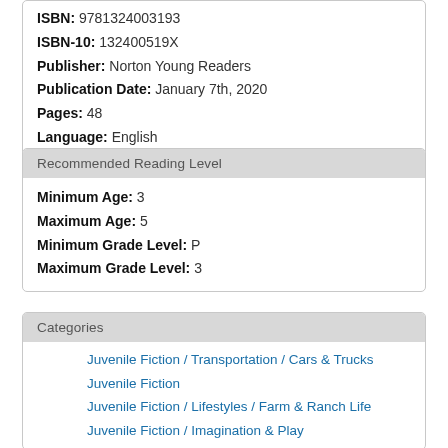ISBN: 9781324003193
ISBN-10: 132400519X
Publisher: Norton Young Readers
Publication Date: January 7th, 2020
Pages: 48
Language: English
Recommended Reading Level
Minimum Age: 3
Maximum Age: 5
Minimum Grade Level: P
Maximum Grade Level: 3
Categories
Juvenile Fiction / Transportation / Cars & Trucks
Juvenile Fiction
Juvenile Fiction / Lifestyles / Farm & Ranch Life
Juvenile Fiction / Imagination & Play